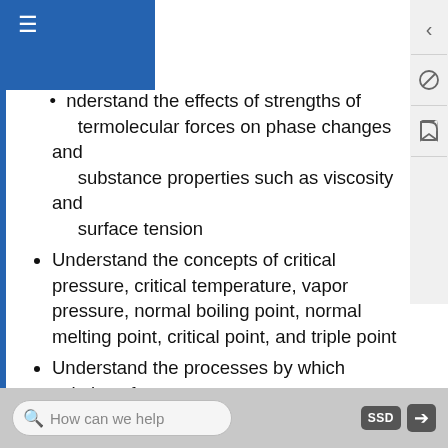nderstand the effects of strengths of termolecular forces on phase changes and substance properties such as viscosity and surface tension
Understand the concepts of critical pressure, critical temperature, vapor pressure, normal boiling point, normal melting point, critical point, and triple point
Understand the processes by which solutions form
Understand the roles of enthalpy and entropy in determining solubility
Understand the solubility of non-reactive gases
Understand the effect of solute concentration on colligative properties